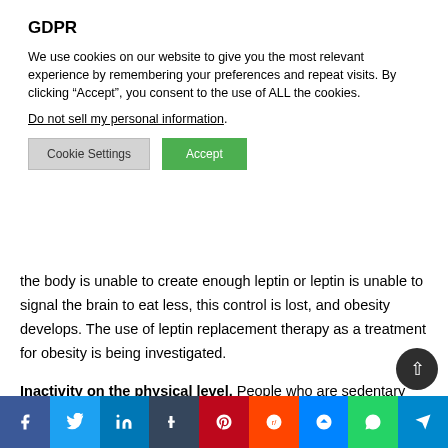GDPR
We use cookies on our website to give you the most relevant experience by remembering your preferences and repeat visits. By clicking “Accept”, you consent to the use of ALL the cookies.
Do not sell my personal information.
the body is unable to create enough leptin or leptin is unable to signal the brain to eat less, this control is lost, and obesity develops. The use of leptin replacement therapy as a treatment for obesity is being investigated.
Inactivity on the physical level. People who are sedentary burn fewer calories than those who are active. Physical inactivity and weight increase have high associations in both
[Figure (infographic): Social media share buttons bar at the bottom: Facebook (blue), Twitter (light blue), LinkedIn (dark blue), Tumblr (dark slate), Pinterest (red), Reddit (orange-red), Messenger (blue), WhatsApp (green), Telegram (blue)]